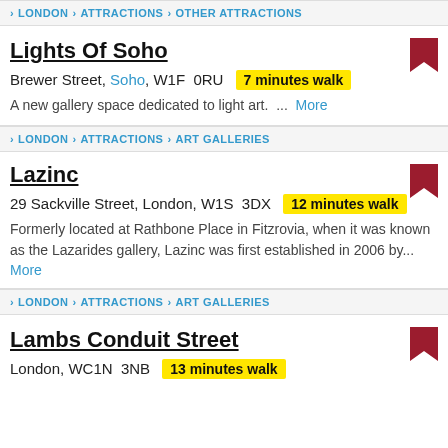LONDON › ATTRACTIONS › OTHER ATTRACTIONS
Lights Of Soho
Brewer Street, Soho, W1F 0RU  7 minutes walk
A new gallery space dedicated to light art. ...  More
LONDON › ATTRACTIONS › ART GALLERIES
Lazinc
29 Sackville Street, London, W1S 3DX  12 minutes walk
Formerly located at Rathbone Place in Fitzrovia, when it was known as the Lazarides gallery, Lazinc was first established in 2006 by... More
LONDON › ATTRACTIONS › ART GALLERIES
Lambs Conduit Street
London, WC1N 3NB  13 minutes walk